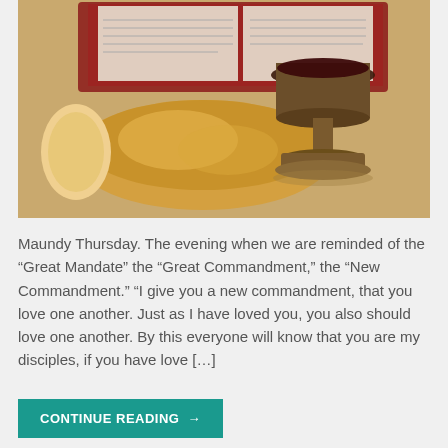[Figure (photo): A photograph showing a rustic ceramic chalice filled with red wine, a piece of torn bread, and an open Bible with a red bookmark, arranged on a burlap background — symbols of communion/Eucharist for Maundy Thursday.]
Maundy Thursday. The evening when we are reminded of the “Great Mandate” the “Great Commandment,” the “New Commandment.” “I give you a new commandment, that you love one another. Just as I have loved you, you also should love one another. By this everyone will know that you are my disciples, if you have love […]
CONTINUE READING →